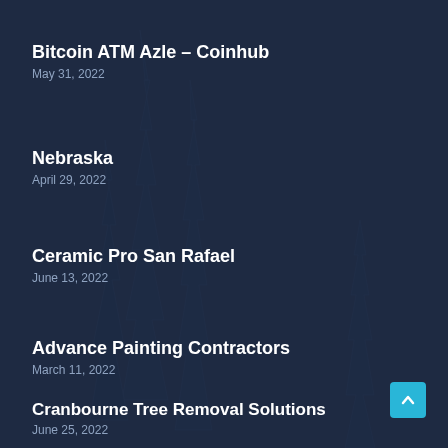Bitcoin ATM Azle – Coinhub
May 31, 2022
Nebraska
April 29, 2022
Ceramic Pro San Rafael
June 13, 2022
Advance Painting Contractors
March 11, 2022
Cranbourne Tree Removal Solutions
June 25, 2022